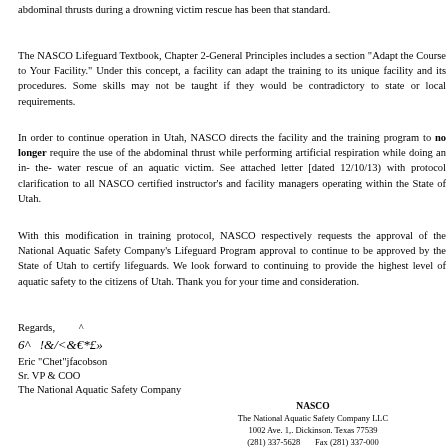abdominal thrusts during a drowning victim rescue has been that standard.
The NASCO Lifeguard Textbook, Chapter 2-General Principles includes a section "Adapt the Course to Your Facility." Under this concept, a facility can adapt the training to its unique facility and its procedures. Some skills may not be taught if they would be contradictory to state or local requirements.
In order to continue operation in Utah, NASCO directs the facility and the training program to no longer require the use of the abdominal thrust while performing artificial respiration while doing an in- the- water rescue of an aquatic victim. See attached letter [dated 12/10/13) with protocol clarification to all NASCO certified instructor's and facility managers operating within the State of Utah.
With this modification in training protocol, NASCO respectively requests the approval of the National Aquatic Safety Company's Lifeguard Program approval to continue to be approved by the State of Utah to certify lifeguards. We look forward to continuing to provide the highest level of aquatic safety to the citizens of Utah. Thank you for your time and consideration.
Regards, ^
6^   !&/<&€*£»
Eric "Chet"jfacobson
Sr. VP & COO
The National Aquatic Safety Company
NASCO
The National Aquatic Safety Company LLC
1002 Ave. 1,. Dickinson. Texas 77539
(281) 337-5628    Fax (281) 337-000
Our Mission: To Reduce the Loss of Life Due to D...